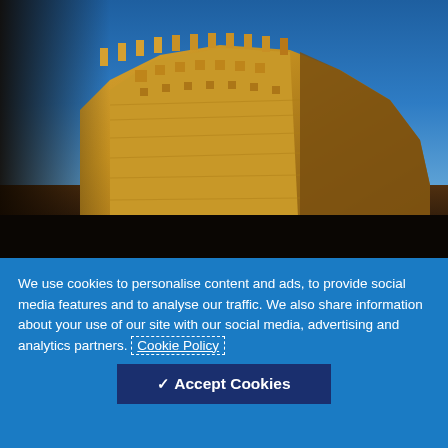[Figure (photo): A photo of the Ksour, a clay building with intricate geometric decorative patterns on its facade, photographed against a clear blue sky. The building is light brown/tan in color with detailed carved ornamentation.]
A photo of the Ksour, a famous clay building depicted on the 50 dirham bill (Moroccan currency). The techniques used by the Moroccan people when creating such a structure allowed them to develop highly efficient architecture.
We use cookies to personalise content and ads, to provide social media features and to analyse our traffic. We also share information about your use of our site with our social media, advertising and analytics partners. Cookie Policy